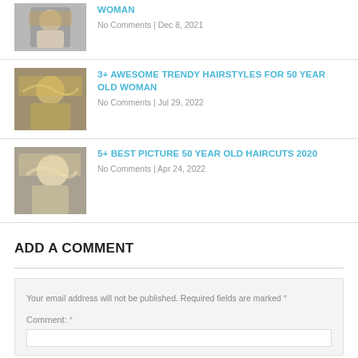[Figure (photo): Thumbnail image of a woman with short blonde hair]
WOMAN
No Comments | Dec 8, 2021
[Figure (photo): Thumbnail image of a woman with wavy blonde bob]
3+ AWESOME TRENDY HAIRSTYLES FOR 50 YEAR OLD WOMAN
No Comments | Jul 29, 2022
[Figure (photo): Thumbnail image of a woman with blonde bob haircut]
5+ BEST PICTURE 50 YEAR OLD HAIRCUTS 2020
No Comments | Apr 24, 2022
ADD A COMMENT
Your email address will not be published. Required fields are marked *
Comment: *